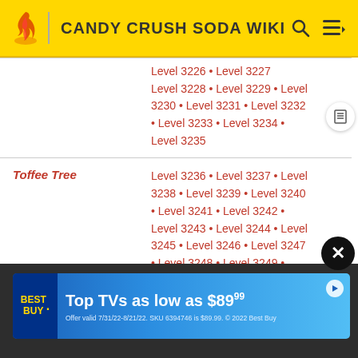CANDY CRUSH SODA WIKI
| Area | Levels |
| --- | --- |
|  | Level 3226 · Level 3227 · Level 3228 · Level 3229 · Level 3230 · Level 3231 · Level 3232 · Level 3233 · Level 3234 · Level 3235 |
| Toffee Tree | Level 3236 · Level 3237 · Level 3238 · Level 3239 · Level 3240 · Level 3241 · Level 3242 · Level 3243 · Level 3244 · Level 3245 · Level 3246 · Level 3247 · Level 3248 · Level 3249 · Level 3250 |
| Lavender Leaves | Level 3251 · Level 3252 · Level 3253 · Level 3254 · Level 3255 · Level 3256 · Level 3257 · Level 3258 · Level 3259 · Level 3260 · Level 3261 · Level 3262 · Level 3263 · Level 3264 |
[Figure (screenshot): Best Buy advertisement banner: 'Top TVs as low as $89.99'. Offer valid 7/31/22-8/21/22. SKU 6394746 is $89.99. © 2022 Best Buy]